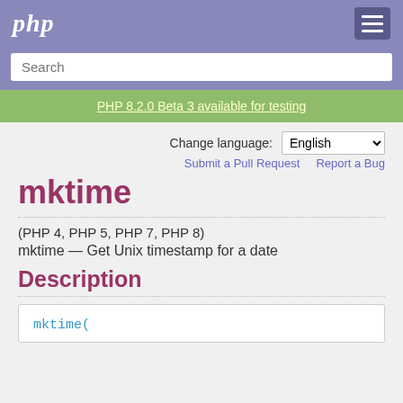php
Search
PHP 8.2.0 Beta 3 available for testing
Change language: English
Submit a Pull Request   Report a Bug
mktime
(PHP 4, PHP 5, PHP 7, PHP 8)
mktime — Get Unix timestamp for a date
Description
mktime(